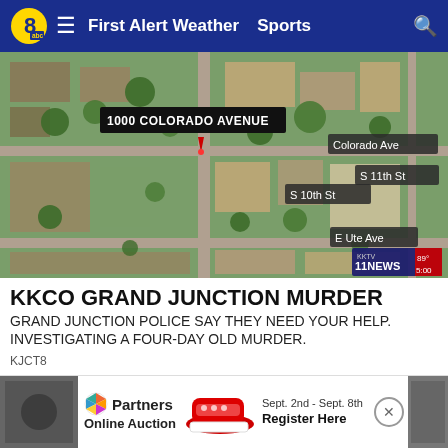8 abc | First Alert Weather | Sports
[Figure (map): Aerial satellite map view of Grand Junction neighborhood showing 1000 Colorado Avenue location marked with arrow/pin, streets labeled: Colorado Ave, S 10th St, S 11th St, E Ute Ave. KKTV 11 News logo with 89° 5:00 in lower right corner.]
KKCO GRAND JUNCTION MURDER
GRAND JUNCTION POLICE SAY THEY NEED YOUR HELP. INVESTIGATING A FOUR-DAY OLD MURDER.
KJCT8
[Figure (other): Advertisement banner for Partners Online Auction showing colorful pinwheel logo, red Converse sneakers, dates Sept. 2nd - Sept. 8th, and Register Here text. Flanked by thumbnail images on left and right.]